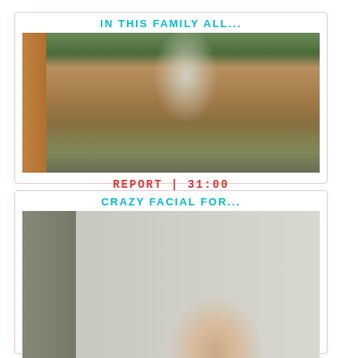IN THIS FAMILY ALL...
[Figure (photo): An elderly bald man bending over sweeping or gardening on a brick patio with green plants and a window in the background]
REPORT | 31:00
CRAZY FACIAL FOR...
[Figure (photo): A close-up photo showing a young woman's face looking up]